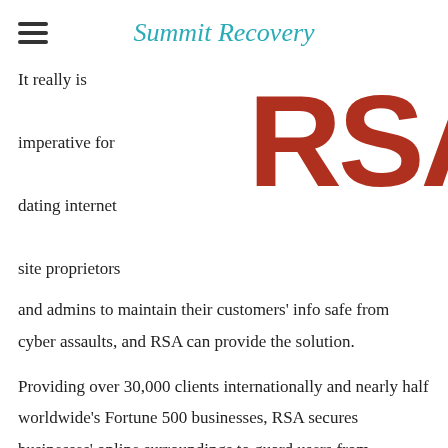Summit Recovery
[Figure (logo): RSA logo in large red serif letters]
It really is imperative for dating internet site proprietors and admins to maintain their customers' info safe from cyber assaults, and RSA can provide the solution.
Providing over 30,000 clients internationally and nearly half worldwide's Fortune 500 businesses, RSA secures businesses' online surroundings to guard users from destructive intention. The business's threat detection and avoidance suite, NetWitness®, coupled with their